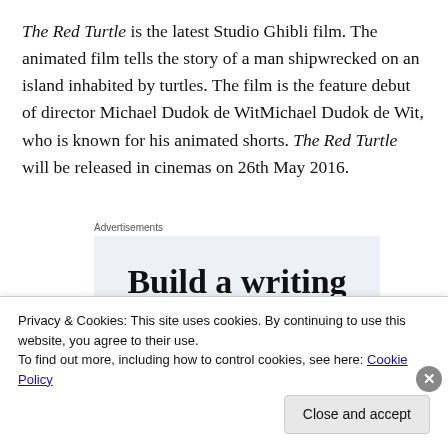The Red Turtle is the latest Studio Ghibli film. The animated film tells the story of a man shipwrecked on an island inhabited by turtles. The film is the feature debut of director Michael Dudok de WitMichael Dudok de Wit, who is known for his animated shorts. The Red Turtle will be released in cinemas on 26th May 2016.
Advertisements
[Figure (other): Advertisement banner with large text reading 'Build a writing habit. Post on']
Privacy & Cookies: This site uses cookies. By continuing to use this website, you agree to their use.
To find out more, including how to control cookies, see here: Cookie Policy
Close and accept